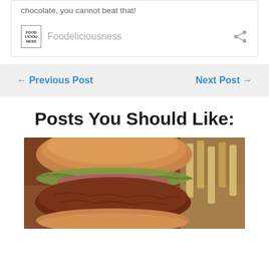chocolate, you cannot beat that!
Foodeliciousness
← Previous Post
Next Post →
Posts You Should Like:
[Figure (photo): Close-up photo of a burger sandwich with red onion rings, lettuce, and a seasoned meat patty on a croissant-style bun, with french fries in the background on a wooden board]